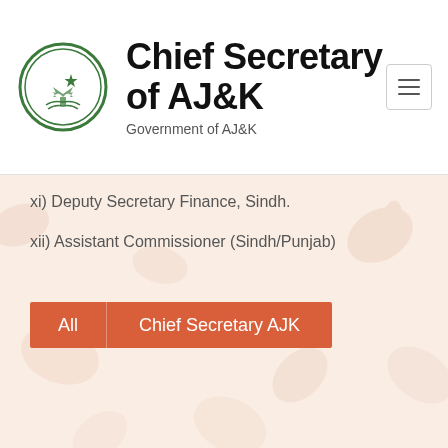Chief Secretary of AJ&K — Government of AJ&K
xi) Deputy Secretary Finance, Sindh.
xii) Assistant Commissioner (Sindh/Punjab)
All  Chief Secretary AJK